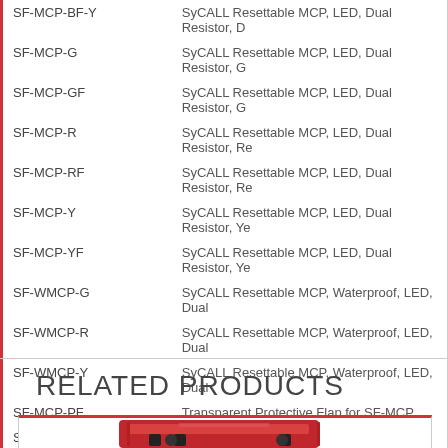| Part Number | Description |
| --- | --- |
| SF-MCP-BF-Y | SyCALL Resettable MCP, LED, Dual Resistor, D... |
| SF-MCP-G | SyCALL Resettable MCP, LED, Dual Resistor, G... |
| SF-MCP-GF | SyCALL Resettable MCP, LED, Dual Resistor, G... |
| SF-MCP-R | SyCALL Resettable MCP, LED, Dual Resistor, Re... |
| SF-MCP-RF | SyCALL Resettable MCP, LED, Dual Resistor, Re... |
| SF-MCP-Y | SyCALL Resettable MCP, LED, Dual Resistor, Ye... |
| SF-MCP-YF | SyCALL Resettable MCP, LED, Dual Resistor, Ye... |
| SF-WMCP-G | SyCALL Resettable MCP, Waterproof, LED, Dual... |
| SF-WMCP-R | SyCALL Resettable MCP, Waterproof, LED, Dual... |
| SF-WMCP-Y | SyCALL Resettable MCP, Waterproof, LED, Dual... |
| SF-MCP-PF | Transparent Protective Flap for SF-MCP |
| SF-MCP-KEY | Spare Key for SF-MCP (Pack of 10) |
RELATED PRODUCTS
[Figure (photo): Red SyCALL device product image]